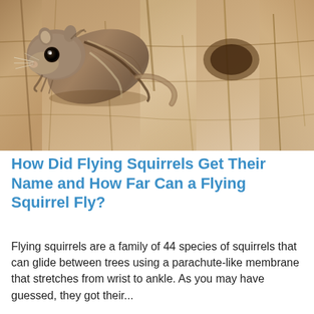[Figure (photo): Close-up photo of a flying squirrel clinging to tree bark, showing its large dark eye, fur with a stripe, and textured bark background.]
How Did Flying Squirrels Get Their Name and How Far Can a Flying Squirrel Fly?
Flying squirrels are a family of 44 species of squirrels that can glide between trees using a parachute-like membrane that stretches from wrist to ankle. As you may have guessed, they got their...